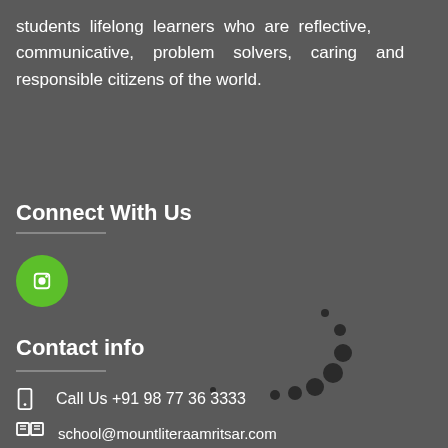students lifelong learners who are reflective, communicative, problem solvers, caring and responsible citizens of the world.
Connect With Us
[Figure (illustration): Green circle with a white icon inside (social media/link icon)]
[Figure (illustration): Decorative dark dots arranged in an arc/curve pattern]
Contact info
Call Us +91 98 77 36 3333
school@mountliteraamritsar.com
Silver Oak Enclave Loharka road Amritsar 143001